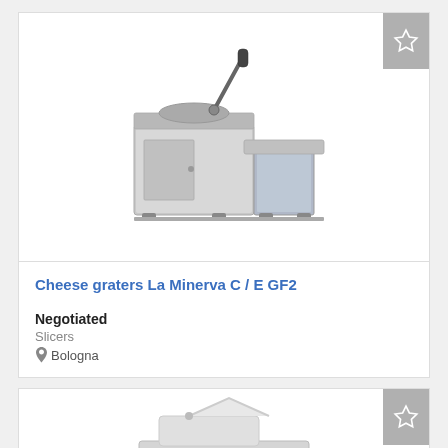[Figure (photo): A stainless steel commercial cheese grater machine (La Minerva C/E GF2) with a hand lever mechanism on top and a collection tray at the front, shown on white background.]
Cheese graters La Minerva C / E GF2
Negotiated
Slicers
Bologna
[Figure (photo): A second commercial food processing machine, partially visible at the bottom of the page, showing a white/silver countertop slicer on white background.]